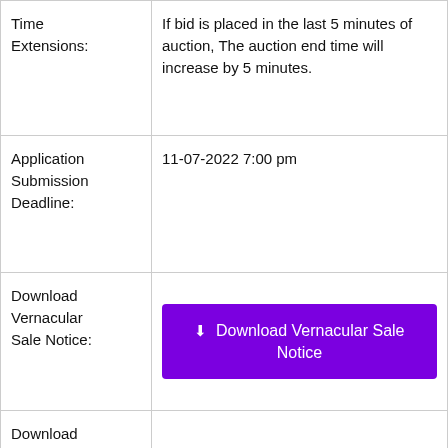| Field | Value |
| --- | --- |
| Time Extensions: | If bid is placed in the last 5 minutes of auction, The auction end time will increase by 5 minutes. |
| Application Submission Deadline: | 11-07-2022 7:00 pm |
| Download Vernacular Sale Notice: | [Button: Download Vernacular Sale Notice] |
| Download English Sale Notice: | [Button: Download English Sale Notice] |